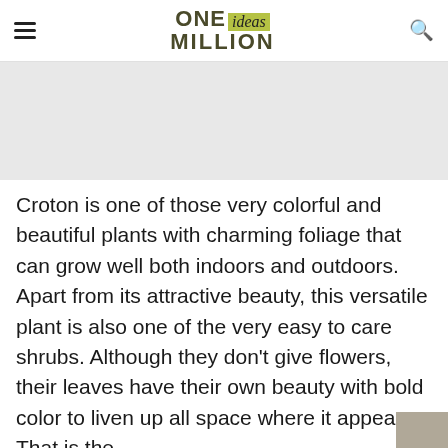ONE ideas MILLION
[Figure (photo): Gray placeholder image area for a croton plant article]
Croton is one of those very colorful and beautiful plants with charming foliage that can grow well both indoors and outdoors. Apart from its attractive beauty, this versatile plant is also one of the very easy to care shrubs. Although they don't give flowers, their leaves have their own beauty with bold color to liven up all space where it appears. That is the